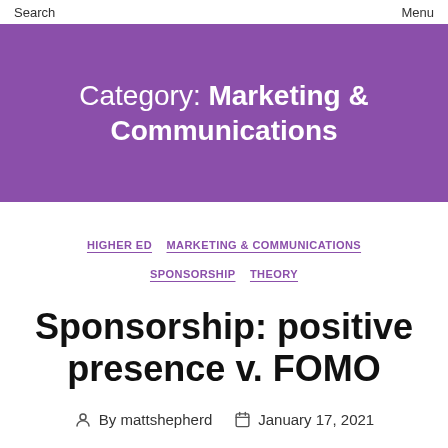Search    Menu
Category: Marketing & Communications
HIGHER ED
MARKETING & COMMUNICATIONS
SPONSORSHIP
THEORY
Sponsorship: positive presence v. FOMO
By mattshepherd   January 17, 2021